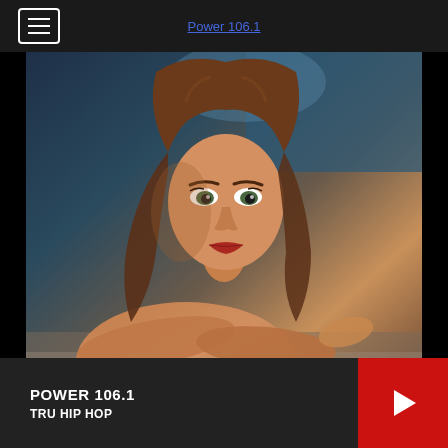Power 106.1
[Figure (photo): Young woman with long brown hair lying on a bed, looking at the camera. Blue-tinted background.]
POWER 106.1
TRU HIP HOP